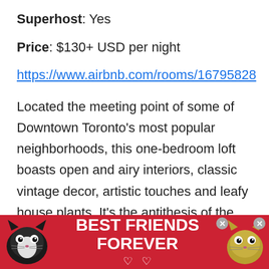Superhost: Yes
Price: $130+ USD per night
https://www.airbnb.com/rooms/16795828
Located the meeting point of some of Downtown Toronto's most popular neighborhoods, this one-bedroom loft boasts open and airy interiors, classic vintage decor, artistic touches and leafy house plants. It’s the antithesis of the ultra-modern condo scene taking hold over many world cities and has a boho vibe guests adore. It’s located within an industrial walk-up on the border of Old Town,
[Figure (other): Advertisement banner with cats and text BEST FRIENDS FOREVER]